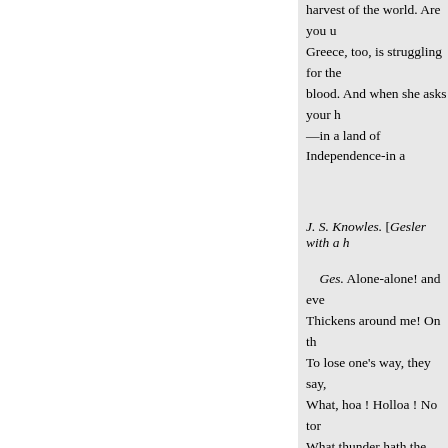harvest of the world. Are you u... Greece, too, is struggling for the... blood. And when she asks your h... —in a land of Independence-in a...
J. S. Knowles. [Gesler with a h...
Ges. Alone-alone! and eve... Thickens around me! On th... To lose one's way, they say,... What, hoa ! Holloa ! No tor... What thunder hath the horro... 'I dare not stop—the day, th... • Is not less sure to end his...
Dreary when through the s... * Her solemn darkness wal... 'As this, comes wrapped in... I dare not stop-nor dare I ye... Begirt with hidden danger: ... This hand, it carries me still... The wild and strange solitu...